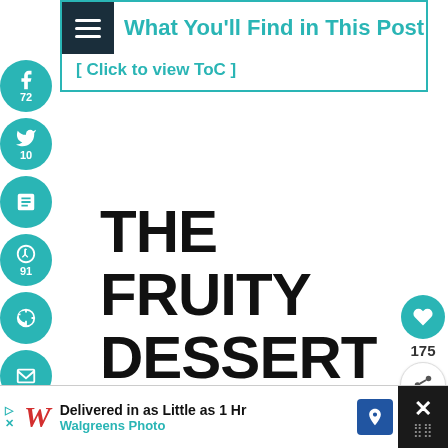[Figure (screenshot): Table of Contents box with hamburger menu icon and teal border. Shows 'What You'll Find in This Post' heading and '[ Click to view ToC ]' link.]
[Figure (infographic): Social media share buttons on left sidebar: Facebook (72), Twitter (10), Pocket, Pinterest (91), Yummly, Email. Heart icon with 175 count and share icon on right sidebar.]
THE FRUITY DESSERT REALM
When you come across a fruity/biscuity dessert, here are some general guidelines that will help figure out what sort of fruity dessert
[Figure (infographic): What's Next promotional widget with image of cherry dessert and text 'WHAT'S NEXT → Delicious Cherry...']
[Figure (screenshot): Advertisement bar at bottom: Walgreens Photo - Delivered in as Little as 1 Hr]